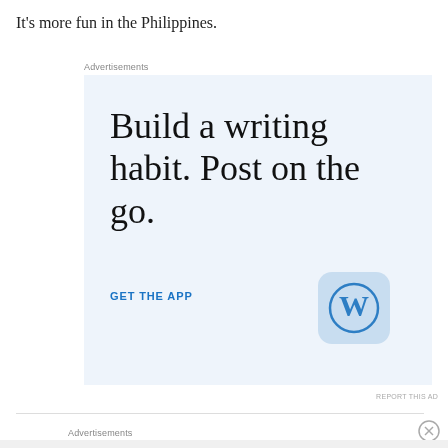It's more fun in the Philippines.
Advertisements
[Figure (screenshot): WordPress app advertisement. Large serif text reads 'Build a writing habit. Post on the go.' with a 'GET THE APP' call-to-action link and WordPress logo icon on a light blue background.]
REPORT THIS AD
Advertisements